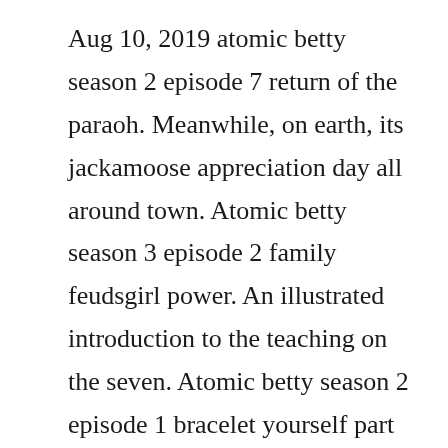Aug 10, 2019 atomic betty season 2 episode 7 return of the paraoh. Meanwhile, on earth, its jackamoose appreciation day all around town. Atomic betty season 3 episode 2 family feudsgirl power. An illustrated introduction to the teaching on the seven. Atomic betty season 2 episode 1 bracelet yourself part 1. Atomic betty season 1 episode 22 max land duration. Atomic betty season 2 episode 4 the new neighbour video. Aug 15, 2019 atomic betty season 2 episode 47 the case of the missing kanushu. Meanwhile, betty s mom